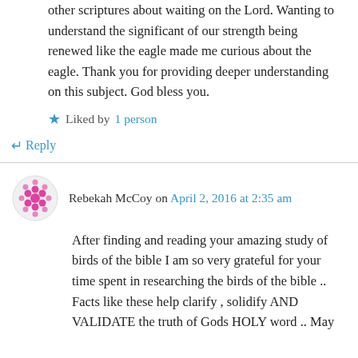other scriptures about waiting on the Lord. Wanting to understand the significant of our strength being renewed like the eagle made me curious about the eagle. Thank you for providing deeper understanding on this subject. God bless you.
★ Liked by 1 person
↵ Reply
Rebekah McCoy on April 2, 2016 at 2:35 am
After finding and reading your amazing study of birds of the bible I am so very grateful for your time spent in researching the birds of the bible .. Facts like these help clarify , solidify AND VALIDATE the truth of Gods HOLY word .. May